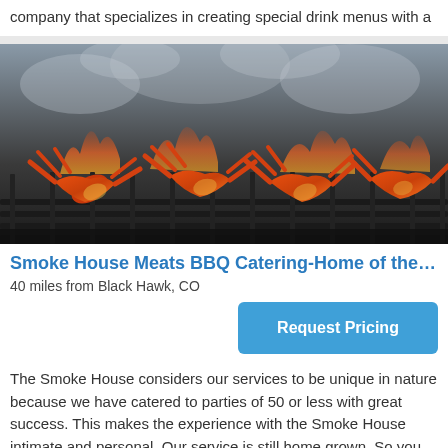company that specializes in creating special drink menus with a
[Figure (photo): Crab legs and seafood on a BBQ grill with smoke and flames, close-up shot on grill grates]
Smoke House Meats BBQ Catering-Home of the B...
40 miles from Black Hawk, CO
Request Pricing
The Smoke House considers our services to be unique in nature because we have catered to parties of 50 or less with great success. This makes the experience with the Smoke House intimate and personal. Our service is still home grown. So you